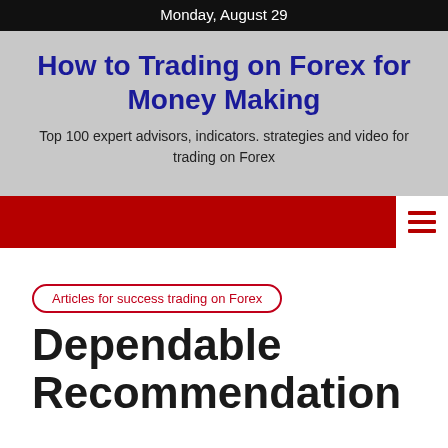Monday, August 29
How to Trading on Forex for Money Making
Top 100 expert advisors, indicators. strategies and video for trading on Forex
[Figure (other): Red navigation bar with hamburger menu icon on the right]
Articles for success trading on Forex
Dependable Recommendation